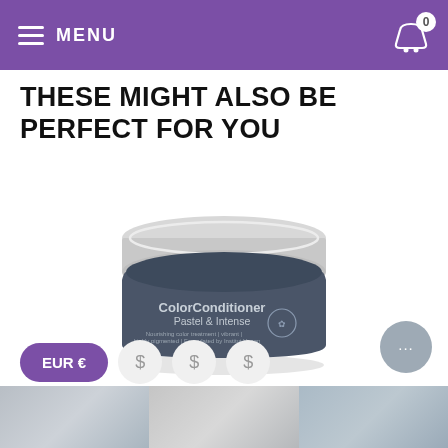MENU
THESE MIGHT ALSO BE PERFECT FOR YOU
[Figure (photo): A round tin jar of ColorConditioner Pastel & Intense with a silver screw-on lid. The jar body is dark slate/gray-blue with white label text reading 'ColorConditioner Pastel & Intense' and additional small text below. A circular logo/badge is on the right side of the label.]
EUR €
$
$
$
...
[Figure (photo): Bottom strip showing partial images of hair — gray/silver colored hair visible across three panels at the bottom of the page.]